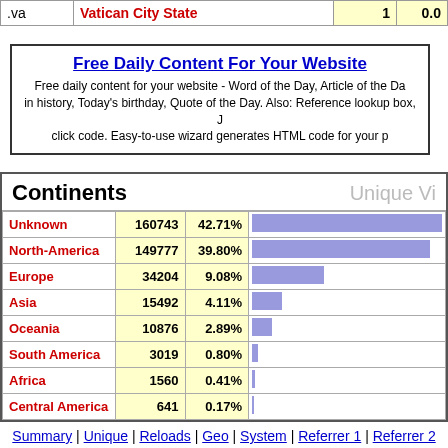| .va | Vatican City State | 1 | 0.0 |
| --- | --- | --- | --- |
| .va | Vatican City State | 1 | 0.0 |
Free Daily Content For Your Website
Free daily content for your website - Word of the Day, Article of the Day, This day in history, Today's birthday, Quote of the Day. Also: Reference lookup box, ... click code. Easy-to-use wizard generates HTML code for your page.
| Continents |  | Unique Vi |
| --- | --- | --- |
| Unknown | 160743 | 42.71% |
| North-America | 149777 | 39.80% |
| Europe | 34204 | 9.08% |
| Asia | 15492 | 4.11% |
| Oceania | 10876 | 2.89% |
| South America | 3019 | 0.80% |
| Africa | 1560 | 0.41% |
| Central America | 641 | 0.17% |
Summary | Unique | Reloads | Geo | System | Referrer 1 | Referrer 2